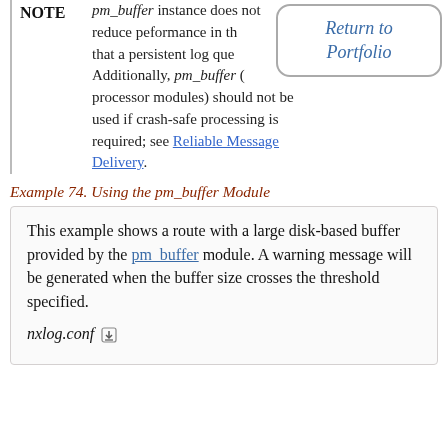pm_buffer instance does not reduce performance in th... that a persistent log que... Additionally, pm_buffer (...processor modules) should not be used if crash-safe processing is required; see Reliable Message Delivery.
[Figure (other): Return to Portfolio overlay box with rounded corners and border, italic blue text reading 'Return to Portfolio']
Example 74. Using the pm_buffer Module
This example shows a route with a large disk-based buffer provided by the pm_buffer module. A warning message will be generated when the buffer size crosses the threshold specified.
nxlog.conf